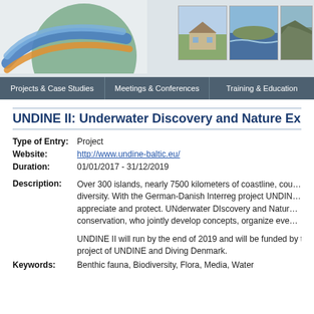[Figure (illustration): Page header banner with a logo featuring blue, orange, and green curved shapes on the left, and three small photographs of a house on a hill, a coastal view, and a cliff on the right.]
Projects & Case Studies | Meetings & Conferences | Training & Education
UNDINE II: Underwater Discovery and Nature Ex...
| Field | Value |
| --- | --- |
| Type of Entry: | Project |
| Website: | http://www.undine-baltic.eu/ |
| Duration: | 01/01/2017 - 31/12/2019 |
| Description: | Over 300 islands, nearly 7500 kilometers of coastline, countless mari... diversity. With the German-Danish Interreg project UNDINE II, we bre... appreciate and protect. UNderwater DIscovery and Nature Experience conservation, who jointly develop concepts, organize events, design m...

UNDINE II will run by the end of 2019 and will be funded by the Euro... project of UNDINE and Diving Denmark. |
| Keywords: | Benthic fauna, Biodiversity, Flora, Media, Water |